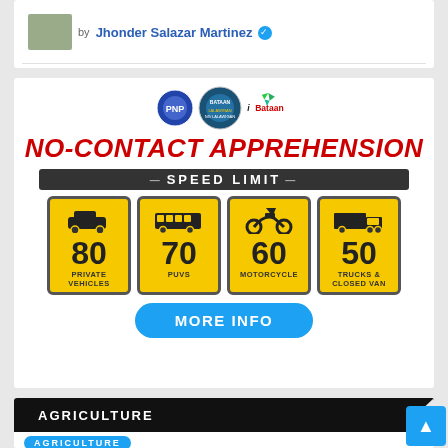by Jhonder Salazar Martinez ✓
[Figure (infographic): No-Contact Apprehension Speed Limit infographic showing speed limits for different vehicle types: Private Vehicles 80, PUVs 70, Motorcycle 60, Trucks & Closed Van 50. Includes logos of Bataan province and iBataan, with a MORE INFO button.]
AGRICULTURE
AGRICULTURE